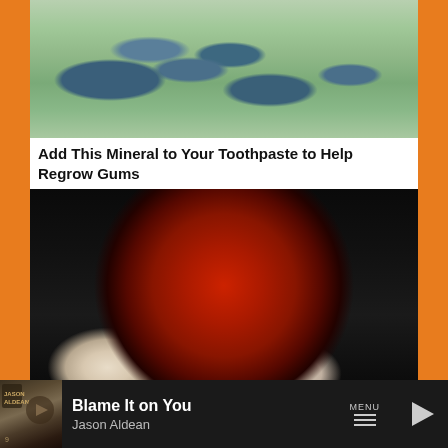[Figure (photo): Close-up photo of blue-purple elongated berries (honeyberries/haskap) held in an open palm, with green background visible]
Add This Mineral to Your Toothpaste to Help Regrow Gums
[Figure (photo): Close-up photo of a red sugary candy ball/gummy being held between fingers against a dark/black background]
Banned for 84 Years; Powerful Pain Reliever Legalized in Virginia
[Figure (screenshot): Music player bar showing 'Blame It on You' by Jason Aldean with album art thumbnail, MENU hamburger icon, and play button]